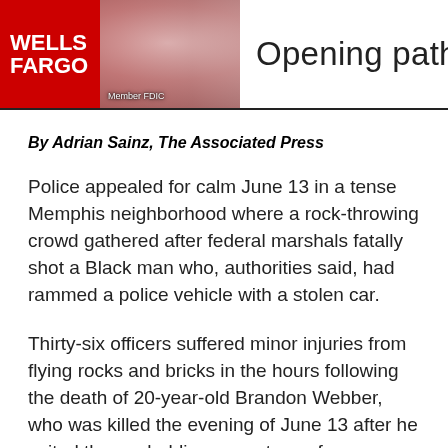[Figure (photo): Wells Fargo advertisement banner showing the Wells Fargo logo on red background with a photo of people and text 'Opening pathw' (truncated) on the right]
By Adrian Sainz, The Associated Press
Police appealed for calm June 13 in a tense Memphis neighborhood where a rock-throwing crowd gathered after federal marshals fatally shot a Black man who, authorities said, had rammed a police vehicle with a stolen car.
Thirty-six officers suffered minor injuries from flying rocks and bricks in the hours following the death of 20-year-old Brandon Webber, who was killed the evening of June 13 after he exited the car holding some type of weapon, authorities